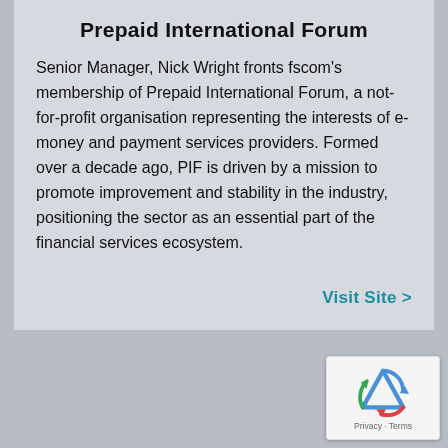Prepaid International Forum
Senior Manager, Nick Wright fronts fscom’s membership of Prepaid International Forum, a not-for-profit organisation representing the interests of e-money and payment services providers. Formed over a decade ago, PIF is driven by a mission to promote improvement and stability in the industry, positioning the sector as an essential part of the financial services ecosystem.
Visit Site >
[Figure (other): reCAPTCHA widget showing the recaptcha icon and Privacy - Terms text]